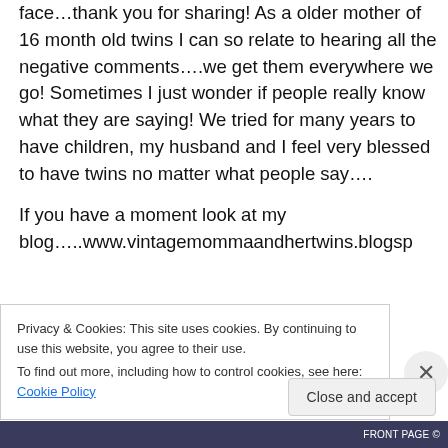face…thank you for sharing! As a older mother of 16 month old twins I can so relate to hearing all the negative comments….we get them everywhere we go! Sometimes I just wonder if people really know what they are saying! We tried for many years to have children, my husband and I feel very blessed to have twins no matter what people say….
If you have a moment look at my blog…..www.vintagemommaandhertwins.blogsp
Privacy & Cookies: This site uses cookies. By continuing to use this website, you agree to their use.
To find out more, including how to control cookies, see here: Cookie Policy
Close and accept
FRONT PAGE ©